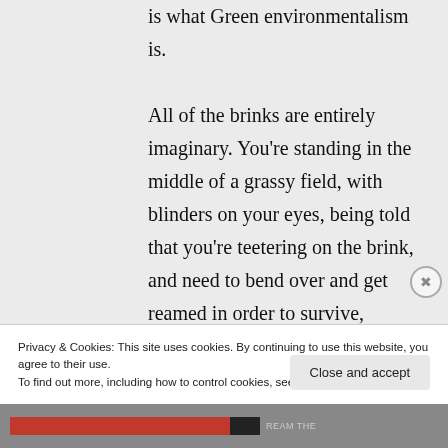is what Green environmentalism is.

All of the brinks are entirely imaginary. You're standing in the middle of a grassy field, with blinders on your eyes, being told that you're teetering on the brink, and need to bend over and get reamed in order to survive,
Privacy & Cookies: This site uses cookies. By continuing to use this website, you agree to their use.
To find out more, including how to control cookies, see here: Cookie Policy